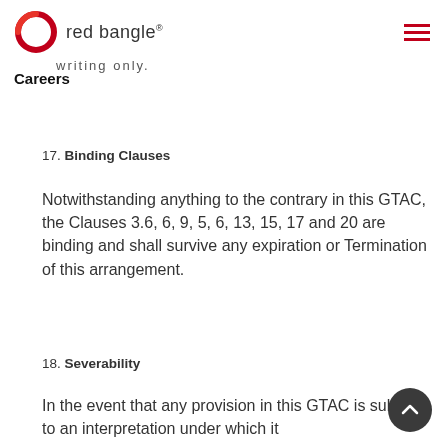red bangle®
writing only.
Careers
17. Binding Clauses
Notwithstanding anything to the contrary in this GTAC, the Clauses 3.6, 6, 9, 5, 6, 13, 15, 17 and 20 are binding and shall survive any expiration or Termination of this arrangement.
18. Severability
In the event that any provision in this GTAC is subject to an interpretation under which it